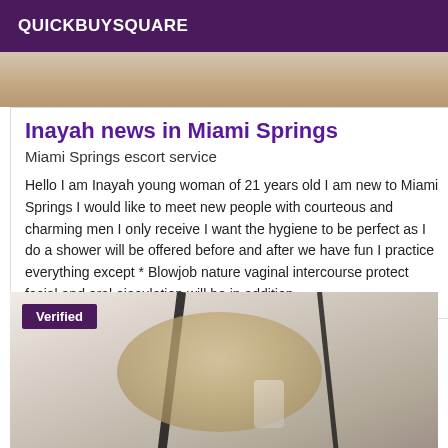QUICKBUYSQUARE
[Figure (photo): Partial photo of a woman, cropped at top of page]
Inayah news in Miami Springs
Miami Springs escort service
Hello I am Inayah young woman of 21 years old I am new to Miami Springs I would like to meet new people with courteous and charming men I only receive I want the hygiene to be perfect as I do a shower will be offered before and after we have fun I practice everything except * Blowjob nature vaginal intercourse protect facial and oral ejaculation will be in addition
[Figure (photo): Photo of a blonde woman taking a selfie with a smartphone, with a 'Verified' badge overlay in purple]